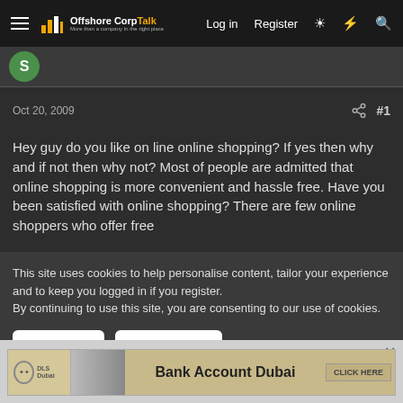Offshore Corp Talk — Log in  Register
Oct 20, 2009  #1
Hey guy do you like on line online shopping? If yes then why and if not then why not? Most of people are admitted that online shopping is more convenient and hassle free. Have you been satisfied with online shopping? There are few online shoppers who offer free
This site uses cookies to help personalise content, tailor your experience and to keep you logged in if you register.
By continuing to use this site, you are consenting to our use of cookies.
[Figure (screenshot): Cookie consent banner with Accept and Learn more buttons]
[Figure (screenshot): Advertisement banner for Bank Account Dubai by DLS Dubai with CLICK HERE button]